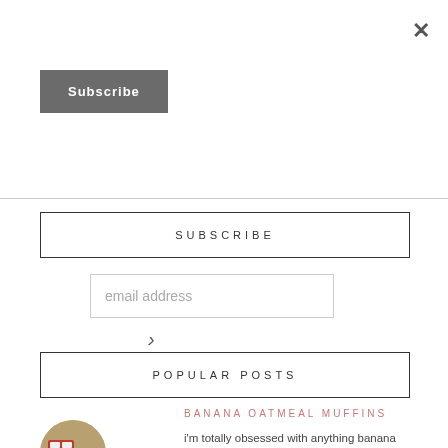×
Subscribe
SUBSCRIBE
email address
›
POPULAR POSTS
BANANA OATMEAL MUFFINS
i'm totally obsessed with anything banana flavored (laffy taffy, banana pudding, banana bread...) and the